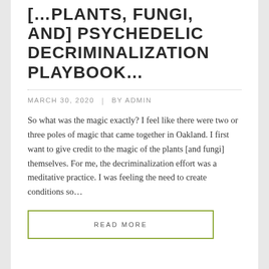[…PLANTS, FUNGI, AND] PSYCHEDELIC DECRIMINALIZATION PLAYBOOK...
MARCH 30, 2020  |  BY ADMIN
So what was the magic exactly? I feel like there were two or three poles of magic that came together in Oakland. I first want to give credit to the magic of the plants [and fungi] themselves. For me, the decriminalization effort was a meditative practice. I was feeling the need to create conditions so...
READ MORE